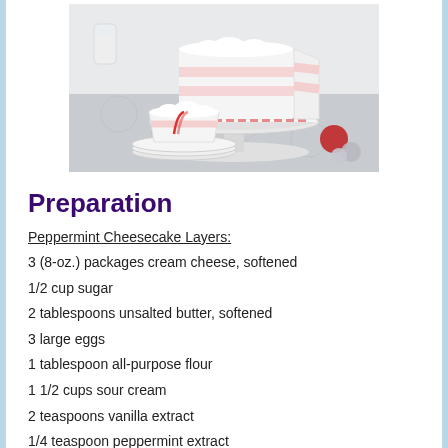[Figure (photo): A layered white and pink peppermint cheesecake with white frosting on a cake stand decorated with peppermint candies, with a slice on a plate in the foreground and Christmas ornaments nearby]
Preparation
Peppermint Cheesecake Layers:
3 (8-oz.) packages cream cheese, softened
1/2 cup sugar
2 tablespoons unsalted butter, softened
3 large eggs
1 tablespoon all-purpose flour
1 1/2 cups sour cream
2 teaspoons vanilla extract
1/4 teaspoon peppermint extract